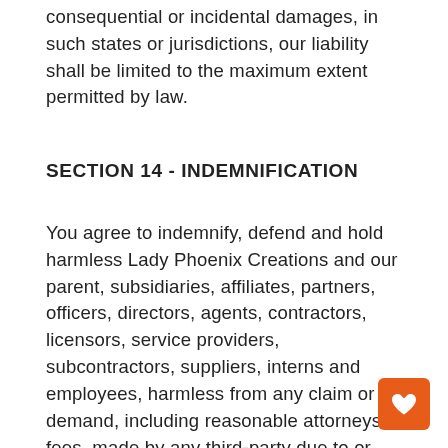consequential or incidental damages, in such states or jurisdictions, our liability shall be limited to the maximum extent permitted by law.
SECTION 14 - INDEMNIFICATION
You agree to indemnify, defend and hold harmless Lady Phoenix Creations and our parent, subsidiaries, affiliates, partners, officers, directors, agents, contractors, licensors, service providers, subcontractors, suppliers, interns and employees, harmless from any claim or demand, including reasonable attorneys' fees, made by any third-party due to or arising out of your breach of these Terms of Service or the documents they incorporate by